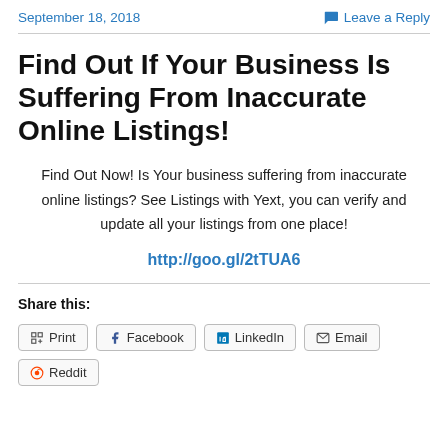September 18, 2018   Leave a Reply
Find Out If Your Business Is Suffering From Inaccurate Online Listings!
Find Out Now! Is Your business suffering from inaccurate online listings? See Listings with Yext, you can verify and update all your listings from one place!
http://goo.gl/2tTUA6
Share this:
Print  Facebook  LinkedIn  Email  Reddit